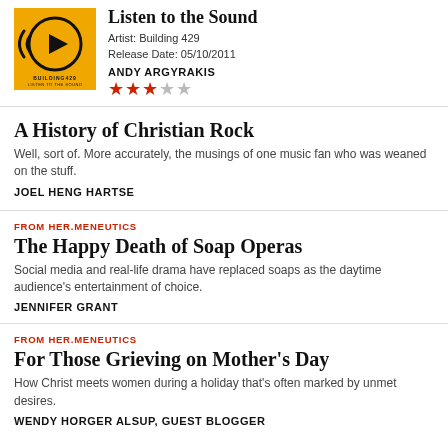[Figure (illustration): Yellow album cover for 'Listen to the Sound' by Building 429 with a play button icon]
Listen to the Sound
Artist: Building 429
Release Date: 05/10/2011
ANDY ARGYRAKIS
[Figure (other): 3 out of 5 stars rating]
A History of Christian Rock
Well, sort of. More accurately, the musings of one music fan who was weaned on the stuff.
JOEL HENG HARTSE
FROM HER.MENEUTICS
The Happy Death of Soap Operas
Social media and real-life drama have replaced soaps as the daytime audience's entertainment of choice.
JENNIFER GRANT
FROM HER.MENEUTICS
For Those Grieving on Mother's Day
How Christ meets women during a holiday that's often marked by unmet desires.
WENDY HORGER ALSUP, GUEST BLOGGER